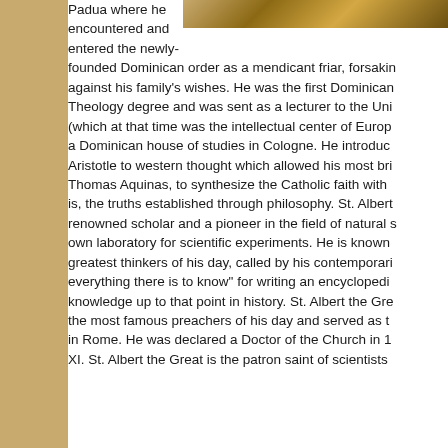[Figure (photo): Partial view of a photo, likely depicting St. Albert the Great or related imagery, cropped at top of page]
Padua where he encountered and entered the newly-founded Dominican order as a mendicant friar, forsaking against his family's wishes. He was the first Dominican Theology degree and was sent as a lecturer to the Uni (which at that time was the intellectual center of Europ a Dominican house of studies in Cologne. He introduc Aristotle to western thought which allowed his most bri Thomas Aquinas, to synthesize the Catholic faith with is, the truths established through philosophy. St. Albert renowned scholar and a pioneer in the field of natural s own laboratory for scientific experiments. He is known greatest thinkers of his day, called by his contemporari everything there is to know" for writing an encyclopedi knowledge up to that point in history. St. Albert the Gre the most famous preachers of his day and served as t in Rome. He was declared a Doctor of the Church in 1 XI. St. Albert the Great is the patron saint of scientists